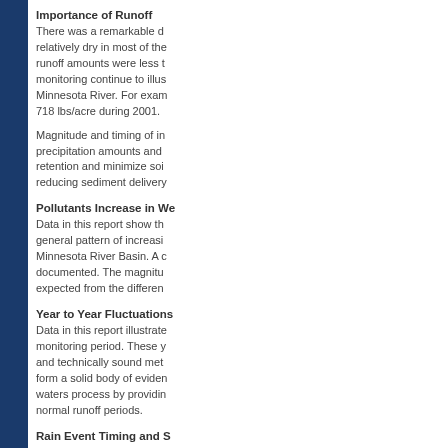Importance of Runoff
There was a remarkable d... relatively dry in most of the... runoff amounts were less t... monitoring continue to illus... Minnesota River. For exam... 718 lbs/acre during 2001.
Magnitude and timing of in... precipitation amounts and ... retention and minimize soi... reducing sediment delivery
Pollutants Increase in We...
Data in this report show th... general pattern of increasi... Minnesota River Basin. A c... documented. The magnitu... expected from the differen
Year to Year Fluctuations
Data in this report illustrate... monitoring period. These y... and technically sound met... form a solid body of eviden... waters process by providin... normal runoff periods.
Rain Event Timing and S...